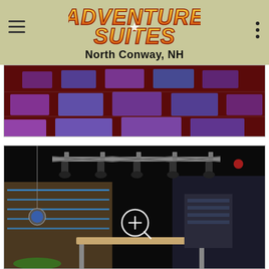[Figure (logo): Adventure Suites logo with stylized text and 'North Conway, NH' subtitle, on an olive/khaki background with hamburger menu icon on left and dots menu on right]
[Figure (photo): Interior photo of what appears to be a dance floor room with illuminated colored tile floor panels in purple and blue hues, dark red walls, viewed from an angle]
[Figure (photo): Interior photo of an adventure/entertainment room with dark ceiling, stage lighting rig with multiple lights, wooden wall panels with blue LED strip lighting, a hanging disco ball, ping pong/game table in foreground, and a zoom/magnify cursor icon overlay in the center]